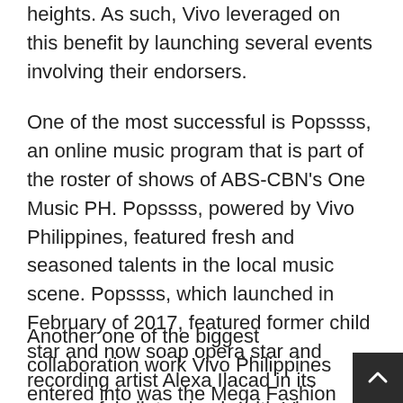heights. As such, Vivo leveraged on this benefit by launching several events involving their endorsers.
One of the most successful is Popssss, an online music program that is part of the roster of shows of ABS-CBN's One Music PH. Popssss, powered by Vivo Philippines, featured fresh and seasoned talents in the local music scene. Popssss, which launched in February of 2017, featured former child star and now soap opera star and recording artist Alexa Ilacad in its successful pilot episode with Vivo endorser Inigo Pascual hosting the program.
Another one of the biggest collaboration work Vivo Philippines entered into was the Mega Fashion Week in October 2017 with Mega Magazine. As co-sponsor of the event, Vivo bagged the spotlight for some of its brand